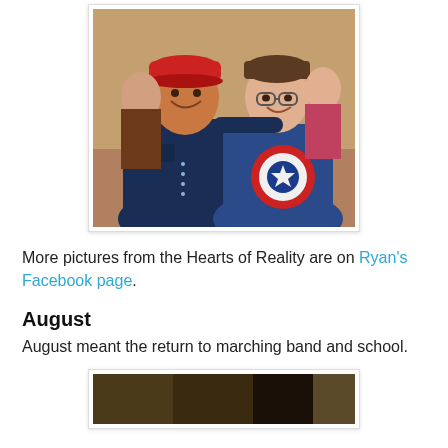[Figure (photo): Two young men posing together indoors. The man on the left wears a red baseball cap and dark denim shirt. The man on the right wears glasses and a blue Captain America t-shirt.]
More pictures from the Hearts of Reality are on Ryan's Facebook page.
August
August meant the return to marching band and school.
[Figure (photo): Partial view of another photo, bottom of page, showing a marching band or outdoor scene.]